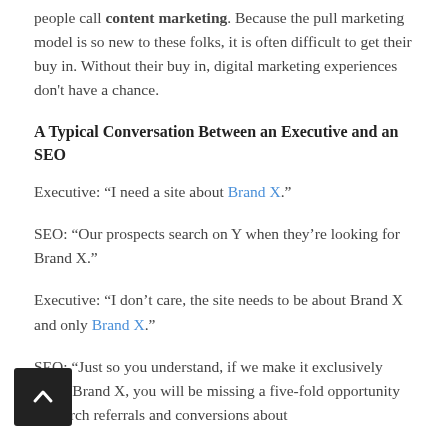people call content marketing. Because the pull marketing model is so new to these folks, it is often difficult to get their buy in. Without their buy in, digital marketing experiences don't have a chance.
A Typical Conversation Between an Executive and an SEO
Executive: “I need a site about Brand X.”
SEO: “Our prospects search on Y when they’re looking for Brand X.”
Executive: “I don’t care, the site needs to be about Brand X and only Brand X.”
SEO: “Just so you understand, if we make it exclusively about Brand X, you will be missing a five-fold opportunity in search referrals and conversions about